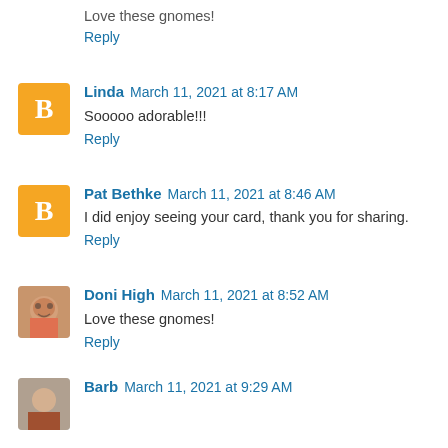Love these gnomes!
Reply
Linda  March 11, 2021 at 8:17 AM
Sooooo adorable!!!
Reply
Pat Bethke  March 11, 2021 at 8:46 AM
I did enjoy seeing your card, thank you for sharing.
Reply
Doni High  March 11, 2021 at 8:52 AM
Love these gnomes!
Reply
Barb  March 11, 2021 at 9:29 AM